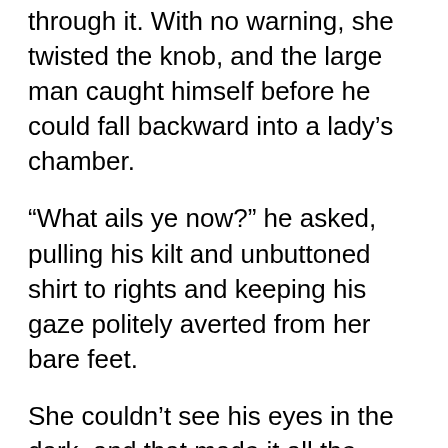through it. With no warning, she twisted the knob, and the large man caught himself before he could fall backward into a lady’s chamber.
“What ails ye now?” he asked, pulling his kilt and unbuttoned shirt to rights and keeping his gaze politely averted from her bare feet.
She couldn’t see his eyes in the dark, and that made it all the easier to answer, “You do.”
He leaped to his feet and stood, dwarfing her. “I can keep watch downstairs in the parlor, if that would be easier. I know it’s damned improper, having a strange man about at night